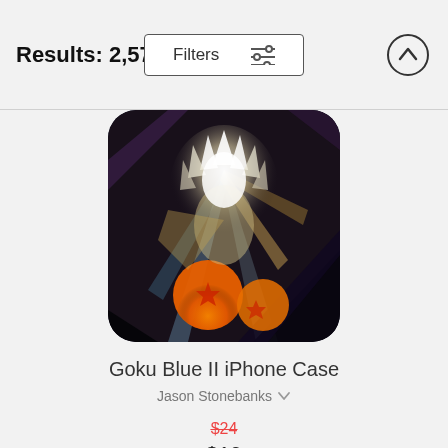Results: 2,572
Filters
[Figure (illustration): Anime-style Dragon Ball phone case art showing Goku Super Saiyan Blue with energy blasts and dragon balls, displayed on a rounded-corner phone case shape]
Goku Blue II iPhone Case
Jason Stonebanks
$24
$19